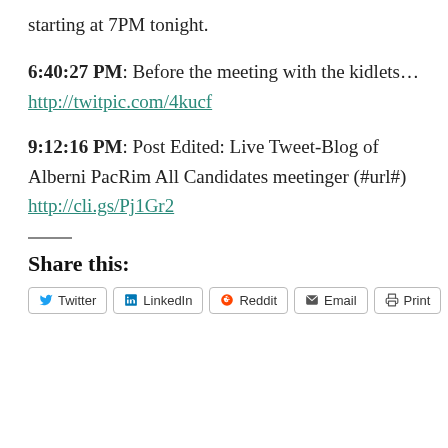starting at 7PM tonight.
6:40:27 PM: Before the meeting with the kidlets… http://twitpic.com/4kucf
9:12:16 PM: Post Edited: Live Tweet-Blog of Alberni PacRim All Candidates meetinger (#url#) http://cli.gs/Pj1Gr2
Share this:
Twitter LinkedIn Reddit Email Print